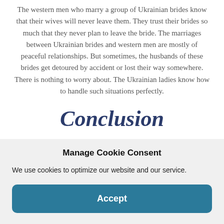The western men who marry a group of Ukrainian brides know that their wives will never leave them. They trust their brides so much that they never plan to leave the bride. The marriages between Ukrainian brides and western men are mostly of peaceful relationships. But sometimes, the husbands of these brides get detoured by accident or lost their way somewhere. There is nothing to worry about. The Ukrainian ladies know how to handle such situations perfectly.
Conclusion
The main thing is that the western men should always get ready before going to meet their future partner. They
Manage Cookie Consent
We use cookies to optimize our website and our service.
Accept